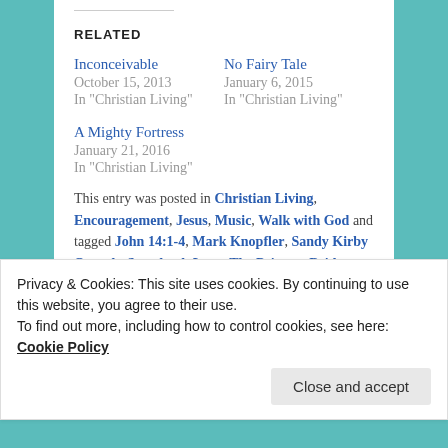RELATED
Inconceivable
October 15, 2013
In “Christian Living”
No Fairy Tale
January 6, 2015
In “Christian Living”
A Mighty Fortress
January 21, 2016
In “Christian Living”
This entry was posted in Christian Living, Encouragement, Jesus, Music, Walk with God and tagged John 14:1-4, Mark Knopfler, Sandy Kirby Quandt, Storybook Love, The Princess Bride, Willy DeVille, Woven and Spun by Sandy
Privacy & Cookies: This site uses cookies. By continuing to use this website, you agree to their use.
To find out more, including how to control cookies, see here: Cookie Policy